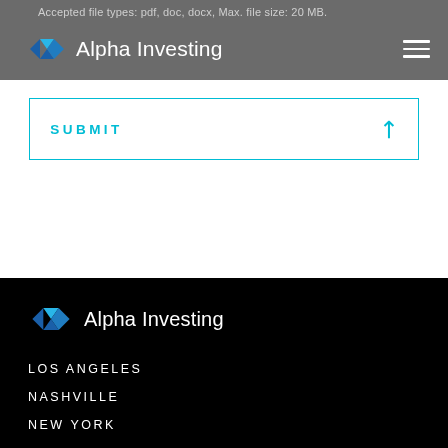Accepted file types: pdf, doc, docx, Max. file size: 20 MB.
[Figure (logo): Alpha Investing logo with blue diamond shape and white text in grey header bar]
SUBMIT
[Figure (logo): Alpha Investing logo with blue diamond shape and white text on black footer]
LOS ANGELES
NASHVILLE
NEW YORK